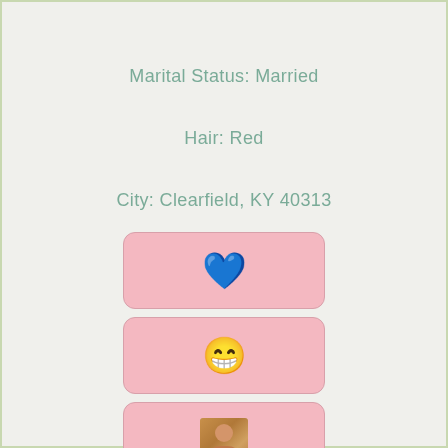Marital Status: Married
Hair: Red
City: Clearfield, KY 40313
[Figure (illustration): Pink rounded rectangle card with a blue heart emoji]
[Figure (illustration): Pink rounded rectangle card with a laughing/grinning emoji]
[Figure (illustration): Pink rounded rectangle card with a small thumbnail photo of a person]